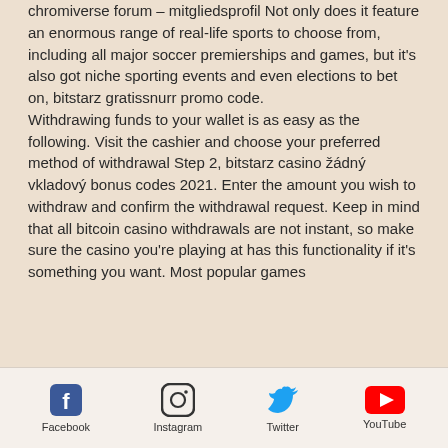chromiverse forum – mitgliedsprofil Not only does it feature an enormous range of real-life sports to choose from, including all major soccer premierships and games, but it's also got niche sporting events and even elections to bet on, bitstarz gratissnurr promo code. Withdrawing funds to your wallet is as easy as the following. Visit the cashier and choose your preferred method of withdrawal Step 2, bitstarz casino žádný vkladový bonus codes 2021. Enter the amount you wish to withdraw and confirm the withdrawal request. Keep in mind that all bitcoin casino withdrawals are not instant, so make sure the casino you're playing at has this functionality if it's something you want. Most popular games
Facebook  Instagram  Twitter  YouTube